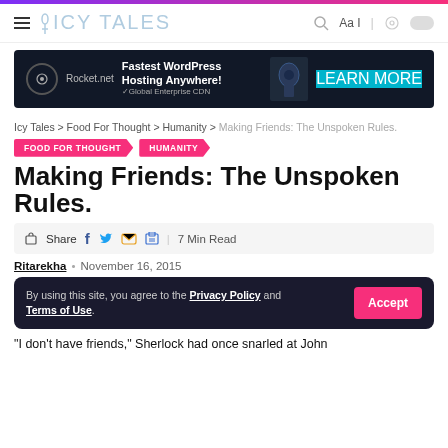ICY TALES
[Figure (other): Rocket.net advertisement banner: Fastest WordPress Hosting Anywhere! with robot graphic and Learn More button]
Icy Tales > Food For Thought > Humanity > Making Friends: The Unspoken Rules.
FOOD FOR THOUGHT
HUMANITY
Making Friends: The Unspoken Rules.
Share | 7 Min Read
Ritarekha · November 16, 2015
By using this site, you agree to the Privacy Policy and Terms of Use.
"I don't have friends," Sherlock had once snarled at John